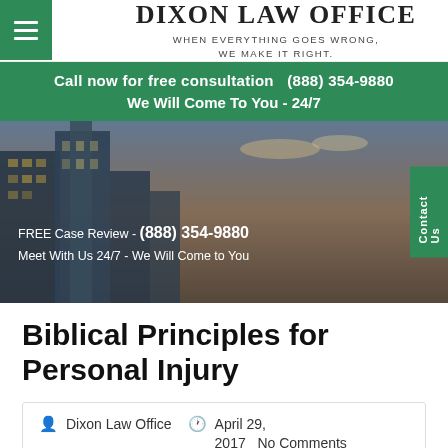[Figure (logo): Dixon Law Office logo with hamburger menu icon on green background, firm name in large serif font, tagline below]
Call now for free consultation   (888) 354-9880
We Will Come To You - 24/7
[Figure (photo): Hero image of city skyline at dusk with a man in a suit standing arms crossed, overlaid with text: FREE Case Review - (888) 354-9880 and Meet With Us 24/7 - We Will Come to You. A green Contact Us tab is on the right side.]
Biblical Principles for Personal Injury
Dixon Law Office   April 29, 2017   No Comments